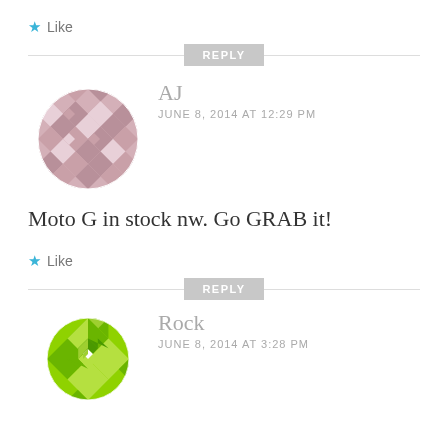Like
REPLY
AJ
JUNE 8, 2014 AT 12:29 PM
Moto G in stock nw. Go GRAB it!
Like
REPLY
Rock
JUNE 8, 2014 AT 3:28 PM